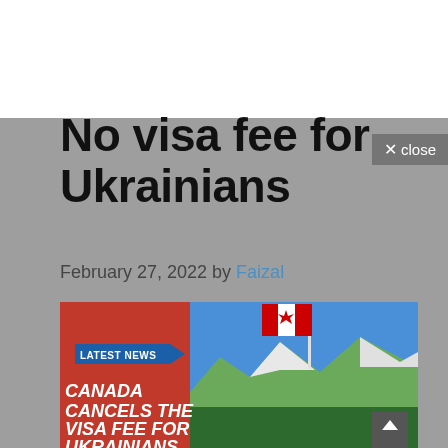No visa fee for Ukrainians
February 27, 2022 by Faizal
[Figure (photo): News graphic showing Canada cancels the visa fee for Ukrainians, with a Canadian flag flying against a mountain landscape background, and a blue arrow banner reading LATEST NEWS]